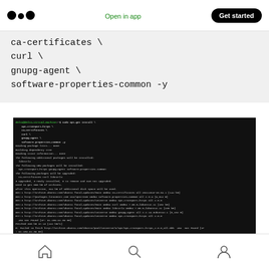Open in app | Get started
ca-certificates \
    curl \
    gnupg-agent \
    software-properties-common -y
[Figure (screenshot): Terminal window showing sudo apt-get install command output with package installation details and error messages about apt-transport-https not found]
Home | Search | Profile